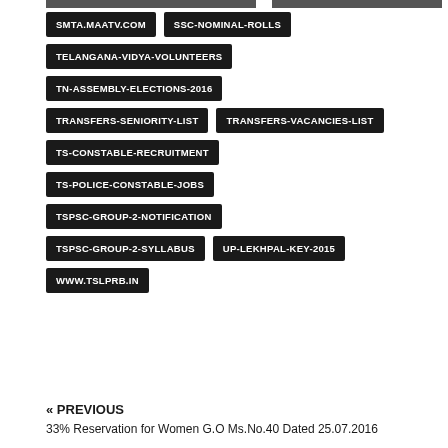SMTA.MAATV.COM
SSC-NOMINAL-ROLLS
TELANGANA-VIDYA-VOLUNTEERS
TN-ASSEMBLY-ELECTIONS-2016
TRANSFERS-SENIORITY-LIST
TRANSFERS-VACANCIES-LIST
TS-CONSTABLE-RECRUITMENT
TS-POLICE-CONSTABLE-JOBS
TSPSC-GROUP-2-NOTIFICATION
TSPSC-GROUP-2-SYLLABUS
UP-LEKHPAL-KEY-2015
WWW.TSLPRB.IN
« PREVIOUS
33% Reservation for Women G.O Ms.No.40 Dated 25.07.2016